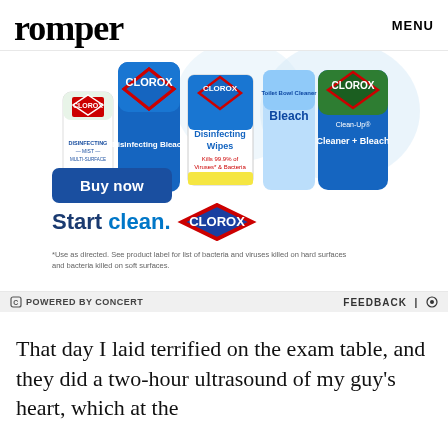romper   MENU
[Figure (photo): Clorox advertisement showing multiple Clorox products (Disinfecting Mist Multi-Surface, Disinfecting Bleach, Disinfecting Wipes Kills 99.9% of Viruses & Bacteria, Toilet Bowl Cleaner Bleach, Clean-Up Cleaner + Bleach), a blue 'Buy now' button, 'Start clean.' text with Clorox diamond logo, and fine print disclaimer. Powered by Concert bar at bottom with Feedback option.]
That day I laid terrified on the exam table, and they did a two-hour ultrasound of my guy's heart, which at the